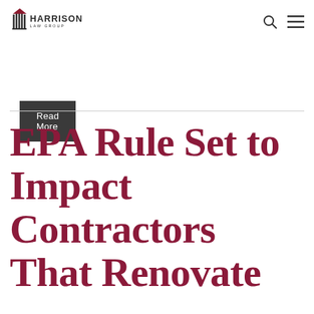Harrison Law Group
Read More
EPA Rule Set to Impact Contractors That Renovate